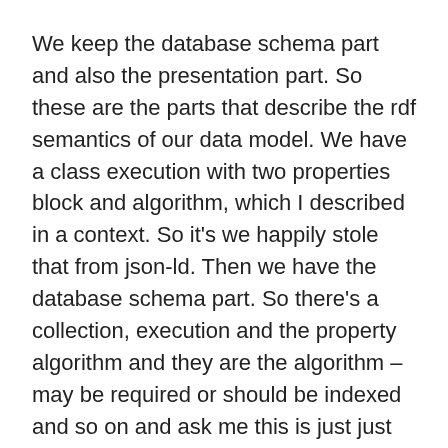We keep the database schema part and also the presentation part. So these are the parts that describe the rdf semantics of our data model. We have a class execution with two properties block and algorithm, which I described in a context. So it's we happily stole that from json-ld. Then we have the database schema part. So there's a collection, execution and the property algorithm and they are the algorithm – may be required or should be indexed and so on and ask me this is just just an example.
This one shouldn't be displayed in the API front end so yeah we're mixing we're mixing different levels, but we're keep them all in one place which makes it really easy to to adapt and to to fix things. So one schema to rule them all. That's our general idea from this one file. We generate our ontology, we generate our REST, API, endpoints and the